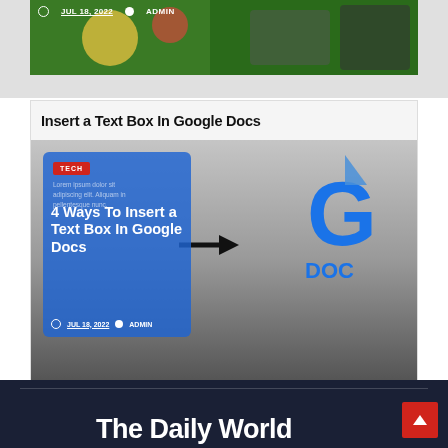[Figure (screenshot): Top partial card with game/colorful image and metadata bar showing JUL 18, 2022 and ADMIN]
JUL 18, 2022  ADMIN
Insert a Text Box In Google Docs
[Figure (screenshot): Article card image showing Google Doc logo on right side and overlay blue card on left with TECH badge, lorem ipsum text, article title '4 Ways To Insert a Text Box In Google Docs', and metadata JUL 18, 2022 ADMIN]
TECH
Lorem ipsum dolor sit adipiscing elit. Aliquam in pellentesque nunc.
4 Ways To Insert a Text Box In Google Docs
JUL 18, 2022  ADMIN
The Daily World